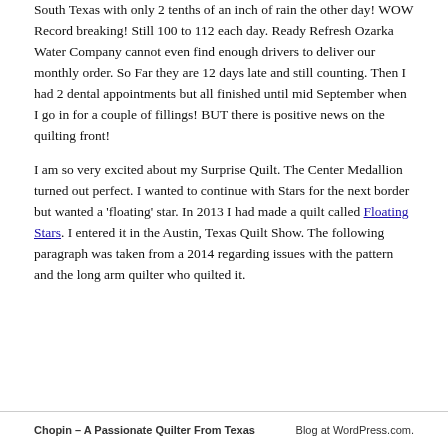South Texas with only 2 tenths of an inch of rain the other day! WOW Record breaking! Still 100 to 112 each day. Ready Refresh Ozarka Water Company cannot even find enough drivers to deliver our monthly order. So Far they are 12 days late and still counting. Then I had 2 dental appointments but all finished until mid September when I go in for a couple of fillings! BUT there is positive news on the quilting front!
I am so very excited about my Surprise Quilt. The Center Medallion turned out perfect. I wanted to continue with Stars for the next border but wanted a 'floating' star. In 2013 I had made a quilt called Floating Stars. I entered it in the Austin, Texas Quilt Show. The following paragraph was taken from a 2014 regarding issues with the pattern and the long arm quilter who quilted it.
Chopin – A Passionate Quilter From Texas    Blog at WordPress.com.